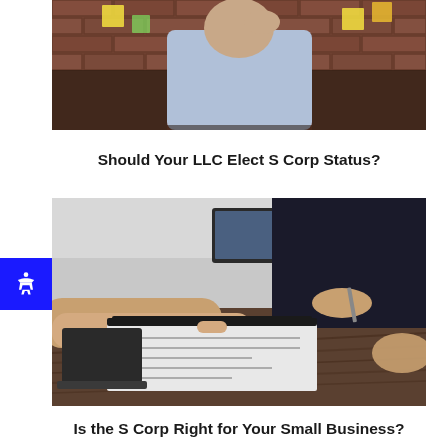[Figure (photo): A man standing against a brick wall covered with sticky notes, viewed from behind, wearing a light blue shirt and holding his head in thought]
Should Your LLC Elect S Corp Status?
[Figure (photo): Two people at a desk, one pointing to a document/contract while the other holds a pen, ready to sign. Papers, a laptop, and folders are on the wooden table surface.]
Is the S Corp Right for Your Small Business?